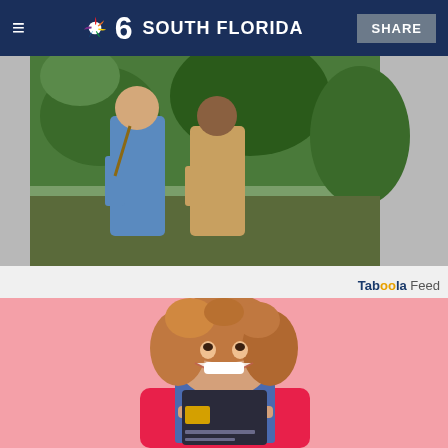NBC 6 South Florida | SHARE
[Figure (photo): Two people standing in a jungle/forest setting, one in a blue outfit and one in a brown patterned outfit, promotional image for a TV show or movie]
Taboola Feed
[Figure (photo): Young woman with curly hair smiling and holding a credit card against a pink background, advertisement image]